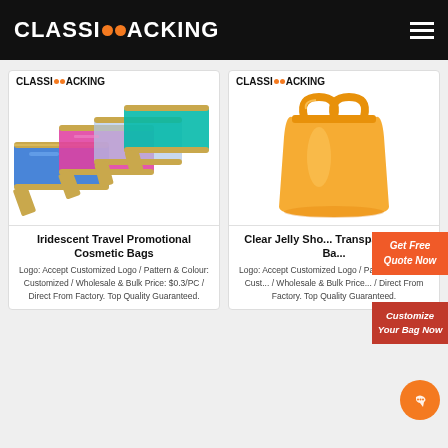CLASSICPACKING
[Figure (photo): Iridescent holographic travel cosmetic bags in multiple colors (blue, pink, clear, teal) with gold zippers]
Iridescent Travel Promotional Cosmetic Bags
Logo: Accept Customized Logo / Pattern & Colour: Customized / Wholesale & Bulk Price: $0.3/PC / Direct From Factory. Top Quality Guaranteed.
[Figure (photo): Clear jelly transparent orange tote bag / shopper bag]
Clear Jelly Shopper Transparent Tote Bag
Logo: Accept Customized Logo / Pattern & Colour: Customized / Wholesale & Bulk Price: / Direct From Factory. Top Quality Guaranteed.